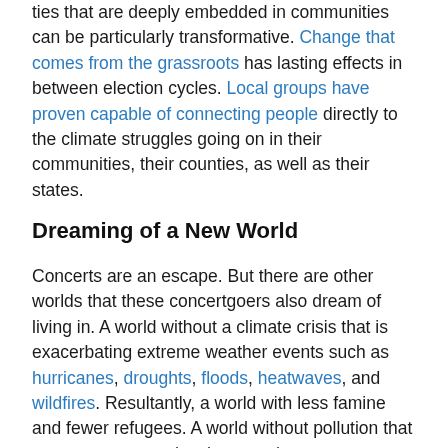ties that are deeply embedded in communities can be particularly transformative. Change that comes from the grassroots has lasting effects in between election cycles. Local groups have proven capable of connecting people directly to the climate struggles going on in their communities, their counties, as well as their states.
Dreaming of a New World
Concerts are an escape. But there are other worlds that these concertgoers also dream of living in. A world without a climate crisis that is exacerbating extreme weather events such as hurricanes, droughts, floods, heatwaves, and wildfires. Resultantly, a world with less famine and fewer refugees. A world without pollution that causes cancer and asthma, and